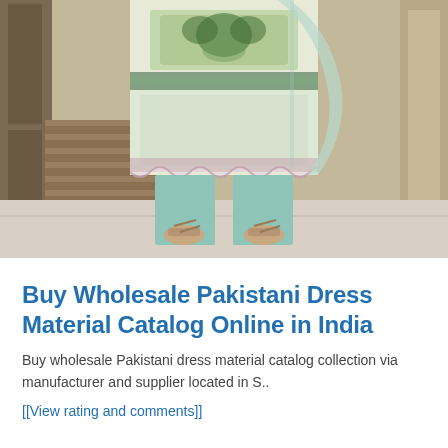[Figure (photo): A woman wearing a green and cream Pakistani printed lawn dress (kurti/suit) with mint green pants and embellished sandals, photographed from the torso down, standing at a doorway.]
Buy Wholesale Pakistani Dress Material Catalog Online in India
Buy wholesale Pakistani dress material catalog collection via manufacturer and supplier located in S..
[[View rating and comments]]